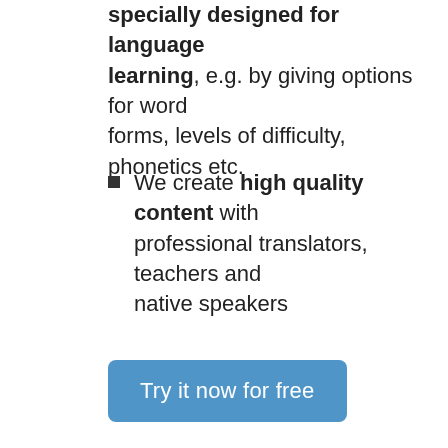especially designed for language learning, e.g. by giving options for word forms, levels of difficulty, phonetics etc.
We create high quality content with professional translators, teachers and native speakers
Try it now for free
[Figure (photo): A smiling woman with dark hair wearing a light blue polo shirt, photographed from above at an angle, sitting on a white background.]